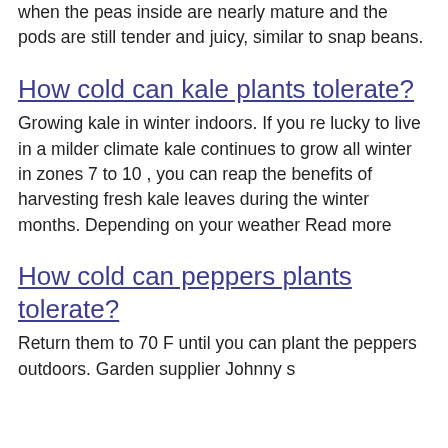when the peas inside are nearly mature and the pods are still tender and juicy, similar to snap beans.
How cold can kale plants tolerate?
Growing kale in winter indoors. If you re lucky to live in a milder climate kale continues to grow all winter in zones 7 to 10 , you can reap the benefits of harvesting fresh kale leaves during the winter months. Depending on your weather Read more
How cold can peppers plants tolerate?
Return them to 70 F until you can plant the peppers outdoors. Garden supplier Johnny s